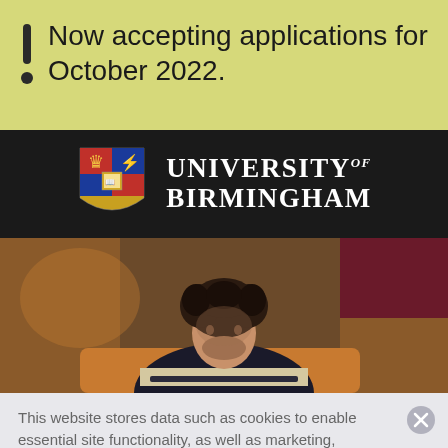Now accepting applications for October 2022.
[Figure (logo): University of Birmingham logo with crest shield and text 'UNIVERSITY of BIRMINGHAM']
[Figure (photo): Young man with curly hair looking down, studying, seated in what appears to be a library or common room with warm lighting]
This website stores data such as cookies to enable essential site functionality, as well as marketing, personalization, and analytics. By remaining on this website you indicate your consent. Cookie Policy